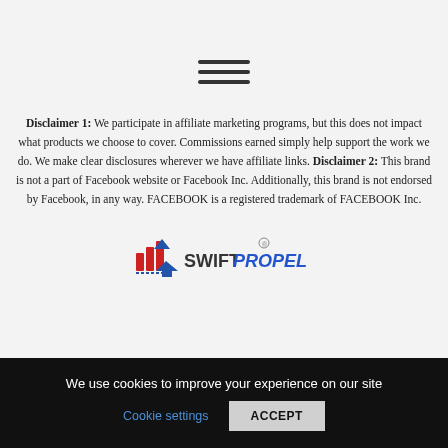[Figure (other): Hamburger menu icon with three horizontal lines]
Disclaimer 1: We participate in affiliate marketing programs, but this does not impact what products we choose to cover. Commissions earned simply help support the work we do. We make clear disclosures wherever we have affiliate links. Disclaimer 2: This brand is not a part of Facebook website or Facebook Inc. Additionally, this brand is not endorsed by Facebook, in any way. FACEBOOK is a registered trademark of FACEBOOK Inc.
[Figure (logo): SwiftPropel logo with red/blue arrow icon and text SWIFTPROPEL]
We use cookies to improve your experience on our site
Cookie settings
ACCEPT